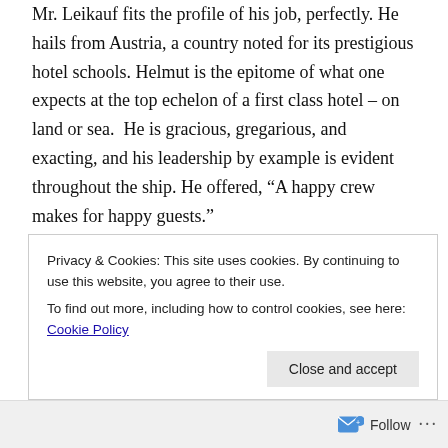Mr. Leikauf fits the profile of his job, perfectly. He hails from Austria, a country noted for its prestigious hotel schools. Helmut is the epitome of what one expects at the top echelon of a first class hotel – on land or sea.  He is gracious, gregarious, and exacting, and his leadership by example is evident throughout the ship. He offered, “A happy crew makes for happy guests.”
We asked Mr. Leikauf about how long a ship might expect to be part of the Princess fleet. His answer was that such decisions are way above his pay grade, but he did offer that the Princess’ head office is highly focused on an
Privacy & Cookies: This site uses cookies. By continuing to use this website, you agree to their use.
To find out more, including how to control cookies, see here: Cookie Policy
Close and accept
Follow